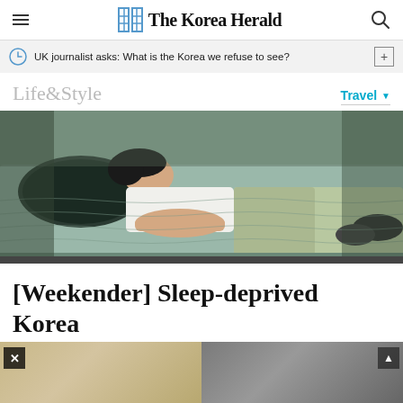The Korea Herald
UK journalist asks: What is the Korea we refuse to see?
Life&Style
Travel
[Figure (photo): A person lying on a mattress, sleeping or resting, wearing a white top and light green pants. A dark pillow supports their head. The mattress has a tufted quilted pattern.]
[Weekender] Sleep-deprived Korea
[Figure (photo): Advertisement banner at bottom with two panels: left showing a warm-toned image (possibly food or objects) and right showing a darker marble-like surface. Has a close button (X) on the left and a scroll/up button on the right.]